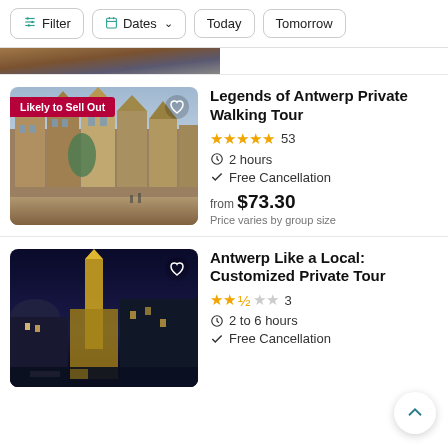Filter | Dates | Today | Tomorrow
[Figure (photo): Partial top strip showing a cropped travel/tour image]
Legends of Antwerp Private Walking Tour
★★★★★ 53
2 hours
Free Cancellation
from $73.30
Price varies by group size
[Figure (photo): Night cityscape of Antwerp with illuminated cathedral and buildings]
Antwerp Like a Local: Customized Private Tour
★★½☆☆ 3
2 to 6 hours
Free Cancellation